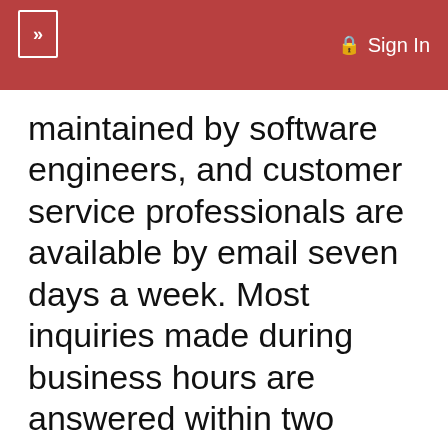» Sign In
maintained by software engineers, and customer service professionals are available by email seven days a week. Most inquiries made during business hours are answered within two hours or less.
We keep course completion information on file and help our clients in any way we can. Not